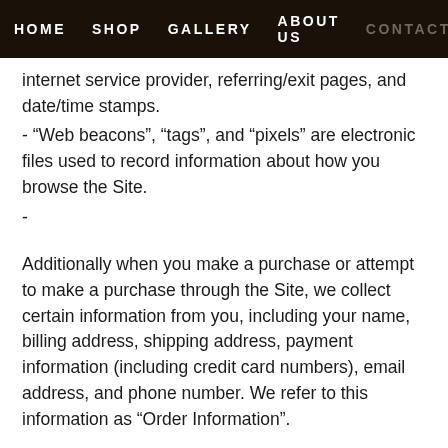HOME   SHOP   GALLERY   ABOUT US   CONTACT
internet service provider, referring/exit pages, and date/time stamps.
- “Web beacons”, “tags”, and “pixels” are electronic files used to record information about how you browse the Site.
-
Additionally when you make a purchase or attempt to make a purchase through the Site, we collect certain information from you, including your name, billing address, shipping address, payment information (including credit card numbers), email address, and phone number. We refer to this information as “Order Information”.